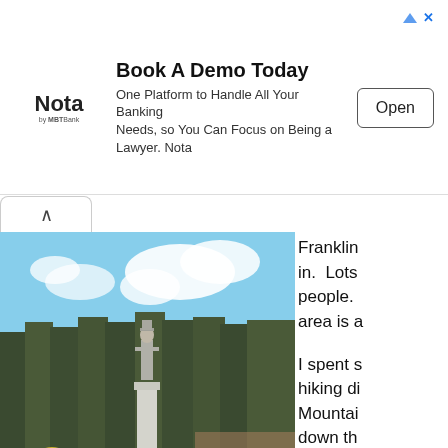[Figure (other): Advertisement banner: Book A Demo Today - Nota by MBT Bank. One Platform to Handle All Your Banking Needs, so You Can Focus on Being a Lawyer. Nota. Open button.]
[Figure (photo): Outdoor photo of a tall stone monument/column with a soldier statue on top, set in a town square with trees and buildings in the background.]
Franklin in. Lots people. area is a
I spent s hiking di Mountai down th do long up to th